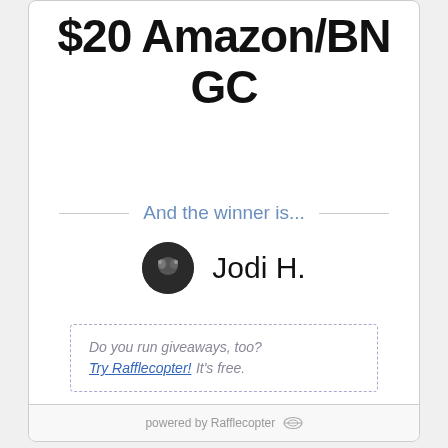$20 Amazon/BN GC
And the winner is...
Jodi H.
Do you run giveaways, too? Try Rafflecopter! It's free.
powered by Rafflecopter